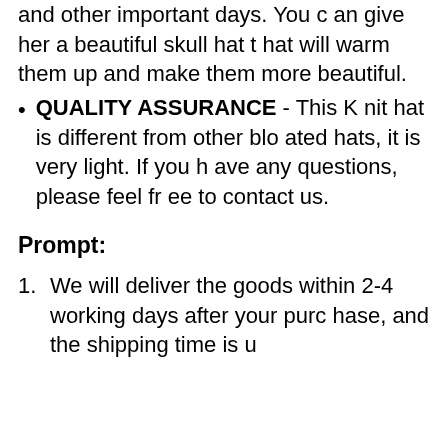and other important days. You can give her a beautiful skull hat that will warm them up and make them more beautiful.
QUALITY ASSURANCE - This Knit hat is different from other bloated hats, it is very light. If you have any questions, please feel free to contact us.
Prompt:
We will deliver the goods within 2-4 working days after your purchase, and the shipping time is u